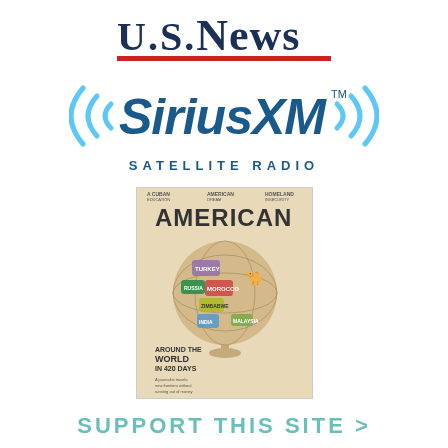[Figure (logo): U.S. News logo with red underline bar]
[Figure (logo): SiriusXM Satellite Radio logo with radio wave arcs on both sides]
[Figure (photo): Magazine cover showing a globe with travel stamps and text 'AMERICAN', 'AROUND THE WORLD IN 420 DAYS']
SUPPORT THIS SITE >